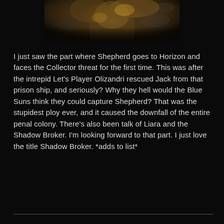[Figure (photo): A fantasy/sci-fi warrior character in ornate armor, partially visible at the top of the page against a dark smoky background]
I just saw the part where Shepherd goes to Horizon and faces the Collector threat for the first time.  This was after the intrepid Let’s Player Olizandri rescued Jack from that prison ship, and seriously?  Why they hell would the Blue Suns think they could capture Shepherd?  That was the stupidest ploy ever, and it caused the downfall of the entire penal colony.  There’s also been talk of Liara and the Shadow Broker.  I’m looking forward to that part.  I just love the title Shadow Broker. *adds to list*